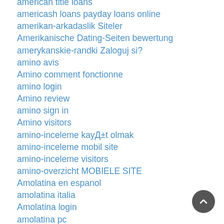american title loans
americash loans payday loans online
amerikan-arkadaslik Siteler
Amerikanische Dating-Seiten bewertung
amerykanskie-randki Zaloguj si?
amino avis
Amino comment fonctionne
amino login
Amino review
amino sign in
Amino visitors
amino-inceleme kayД±t olmak
amino-inceleme mobil site
amino-inceleme visitors
amino-overzicht MOBIELE SITE
Amolatina en espanol
amolatina italia
Amolatina login
amolatina pc
AmoLatina review
AmoLatina visitors
amolatina-recenze Recenze
amor en linea avis